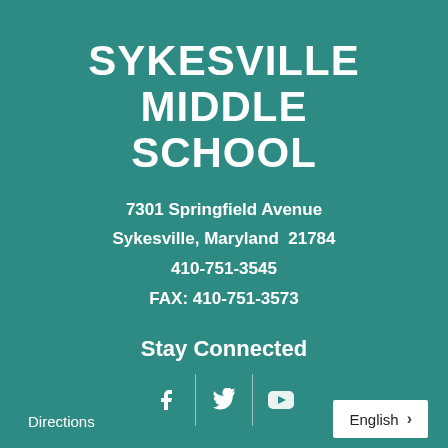SYKESVILLE MIDDLE SCHOOL
7301 Springfield Avenue
Sykesville, Maryland  21784
410-751-3545
FAX: 410-751-3573
Stay Connected
[Figure (other): Social media icons: Facebook, Twitter, YouTube separated by vertical dividers]
Directions
English >